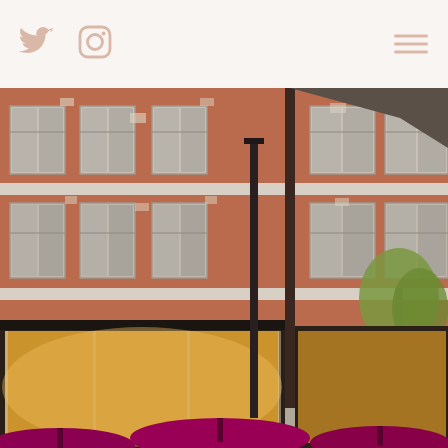[Figure (screenshot): Website header bar with Twitter and Instagram social icons on the left and a hamburger menu on the right, on a light beige/cream background]
[Figure (photo): Exterior photograph of a red brick Victorian-style building with multiple sash windows across three floors. The ground floor shows illuminated shop fronts with warm golden lighting. In the foreground are magenta/purple outdoor dining umbrellas and a tree with green foliage on the right side.]